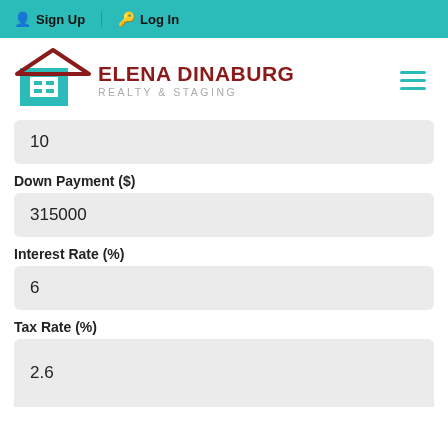Sign Up | Log In
[Figure (logo): Elena Dinaburg Realty & Staging logo with teal building icon and dark red roof/arrow shape]
10
Down Payment ($)
315000
Interest Rate (%)
6
Tax Rate (%)
2.6